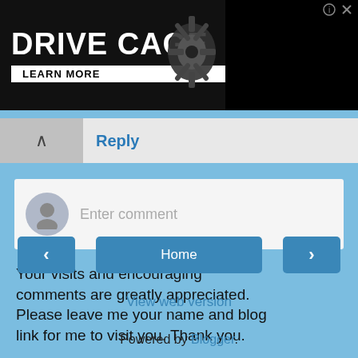[Figure (screenshot): Advertisement banner for Drive Cage arrow rest by Ripcord, showing a bike part/archery rest component image on black and red background with 'LEARN MORE' button]
Reply
[Figure (screenshot): Comment entry box with avatar placeholder and 'Enter comment' placeholder text]
Your visits and encouraging comments are greatly appreciated. Please leave me your name and blog link for me to visit you. Thank you.
Home
View web version
Powered by Blogger.